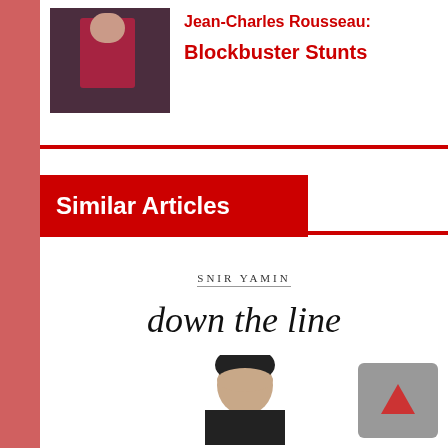[Figure (photo): Photo of person in red/pink clothing]
Jean-Charles Rousseau:
Blockbuster Stunts
Similar Articles
SNIR YAMIN
down the line
[Figure (photo): Black and white photo of person's head from behind]
[Figure (other): Scroll-to-top button with upward arrow icon]